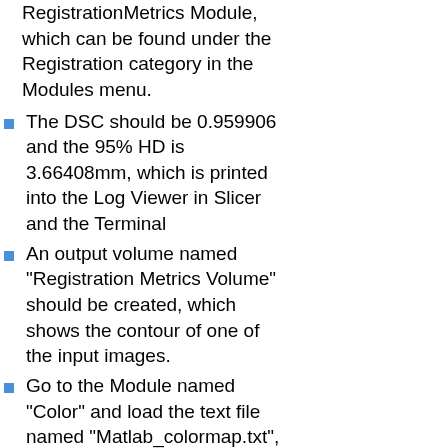Load into the RegistrationMetrics Module, which can be found under the Registration category in the Modules menu.
The DSC should be 0.959906 and the 95% HD is 3.66408mm, which is printed into the Log Viewer in Slicer and the Terminal
An output volume named "Registration Metrics Volume" should be created, which shows the contour of one of the input images.
Go to the Module named "Color" and load the text file named "Matlab_colormap.txt", which is provided with the source code of the